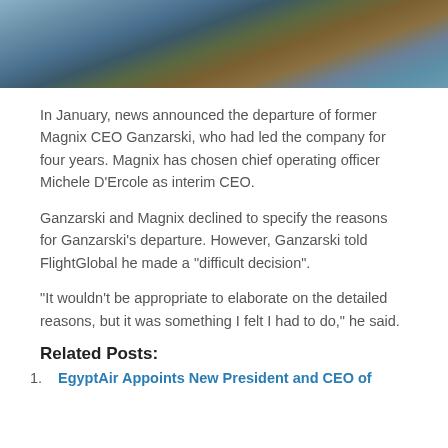[Figure (photo): Aerial or coastal landscape photo showing water and rocky/earthy terrain in muted blue-gray and brown tones]
In January, news announced the departure of former Magnix CEO Ganzarski, who had led the company for four years. Magnix has chosen chief operating officer Michele D’Ercole as interim CEO.
Ganzarski and Magnix declined to specify the reasons for Ganzarski’s departure. However, Ganzarski told FlightGlobal he made a “difficult decision”.
“It wouldn’t be appropriate to elaborate on the detailed reasons, but it was something I felt I had to do,” he said.
Related Posts:
EgyptAir Appoints New President and CEO of